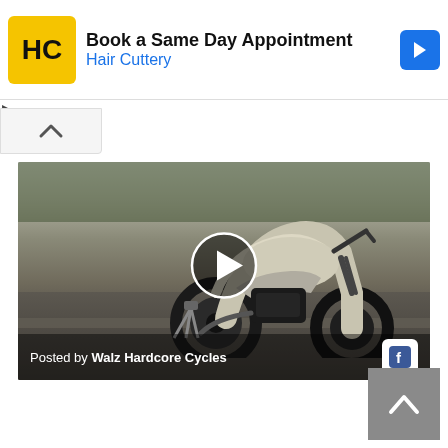[Figure (screenshot): Advertisement banner for Hair Cuttery with HC logo, text 'Book a Same Day Appointment', 'Hair Cuttery', and a blue arrow icon]
[Figure (screenshot): Video thumbnail showing a custom motorcycle (bobber/chopper style) parked near railroad tracks in a parking lot area, with a play button overlay. Bottom bar reads 'Posted by Walz Hardcore Cycles' with Facebook icon.]
[Figure (screenshot): Gray back-to-top button with upward chevron in the bottom right corner]